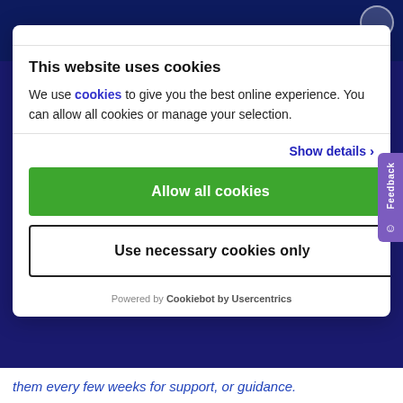This website uses cookies
We use cookies to give you the best online experience. You can allow all cookies or manage your selection.
Show details ›
Allow all cookies
Use necessary cookies only
Powered by Cookiebot by Usercentrics
them every few weeks for support, or guidance.